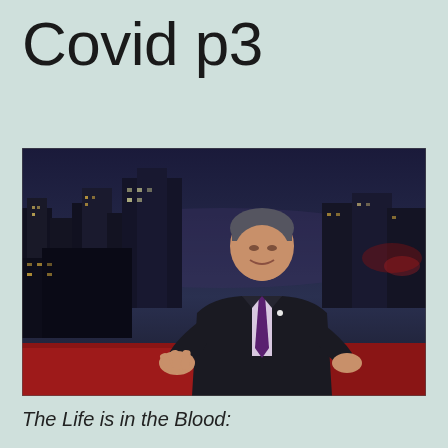Covid p3
[Figure (photo): A man in a dark suit with a purple tie gesturing with his hands, seated in front of a city skyline backdrop at dusk, appearing to be on a TV interview set with red seating visible.]
The Life is in the Blood: